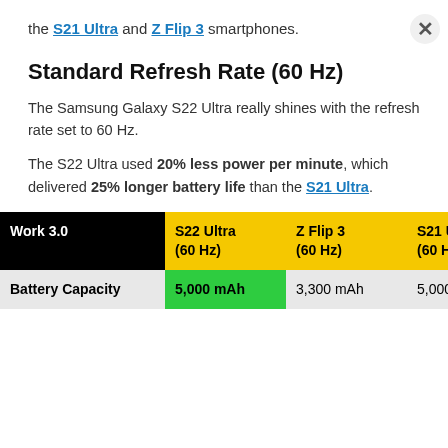the S21 Ultra and Z Flip 3 smartphones.
Standard Refresh Rate (60 Hz)
The Samsung Galaxy S22 Ultra really shines with the refresh rate set to 60 Hz.
The S22 Ultra used 20% less power per minute, which delivered 25% longer battery life than the S21 Ultra.
| Work 3.0 | S22 Ultra (60 Hz) | Z Flip 3 (60 Hz) | S21 Ultra (60 Hz) |
| --- | --- | --- | --- |
| Battery Capacity | 5,000 mAh | 3,300 mAh | 5,000 mAh |